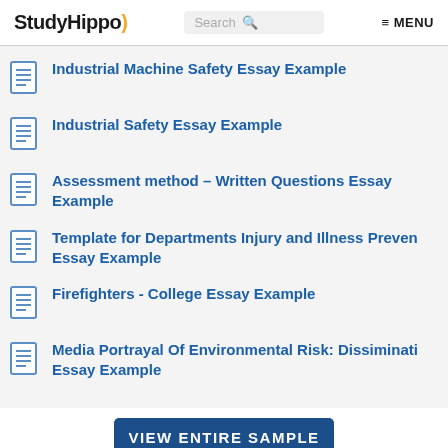StudyHippo | Search | MENU
Industrial Machine Safety Essay Example
Industrial Safety Essay Example
Assessment method – Written Questions Essay Example
Template for Departments Injury and Illness Preven Essay Example
Firefighters - College Essay Example
Media Portrayal Of Environmental Risk: Dissiminati Essay Example
VIEW ENTIRE SAMPLE
Join StudyHippo to see entire essay